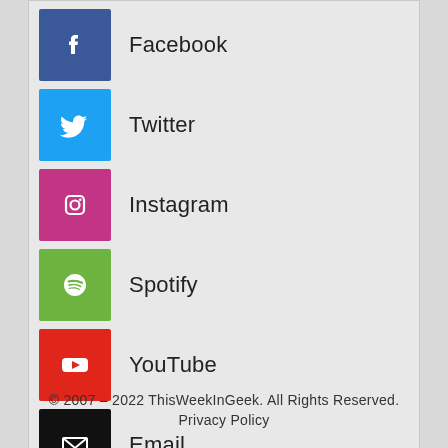Facebook
Twitter
Instagram
Spotify
YouTube
Email
© 2007 – 2022 ThisWeekInGeek. All Rights Reserved.
Privacy Policy